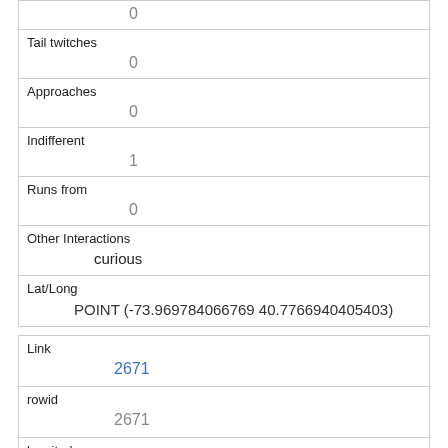|  | 0 |
| Tail twitches | 0 |
| Approaches | 0 |
| Indifferent | 1 |
| Runs from | 0 |
| Other Interactions | curious |
| Lat/Long | POINT (-73.969784066769 40.7766940405403) |
| Link | 2671 |
| rowid | 2671 |
| longitude | -73.97433690682541 |
| latitude |  |